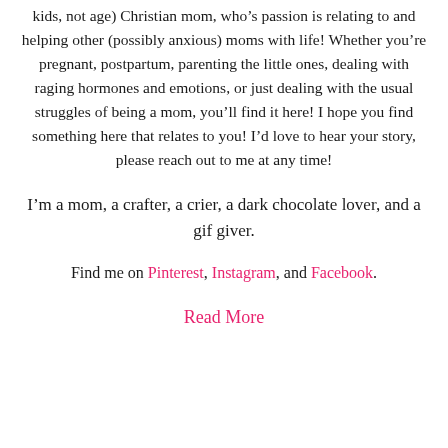kids, not age) Christian mom, who's passion is relating to and helping other (possibly anxious) moms with life! Whether you're pregnant, postpartum, parenting the little ones, dealing with raging hormones and emotions, or just dealing with the usual struggles of being a mom, you'll find it here! I hope you find something here that relates to you! I'd love to hear your story, please reach out to me at any time!
I'm a mom, a crafter, a crier, a dark chocolate lover, and a gif giver.
Find me on Pinterest, Instagram, and Facebook.
Read More